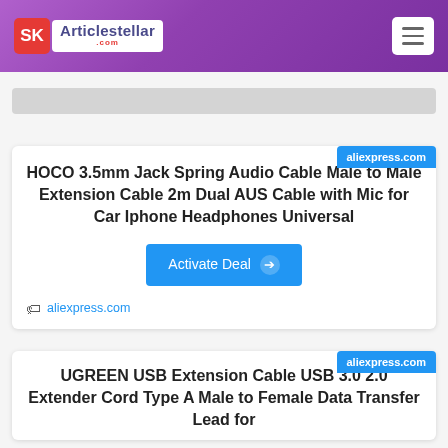Articlestellar.com
[Figure (screenshot): Gray search/navigation bar]
aliexpress.com
HOCO 3.5mm Jack Spring Audio Cable Male to Male Extension Cable 2m Dual AUS Cable with Mic for Car Iphone Headphones Universal
Activate Deal
aliexpress.com
aliexpress.com
UGREEN USB Extension Cable USB 3.0 2.0 Extender Cord Type A Male to Female Data Transfer Lead for